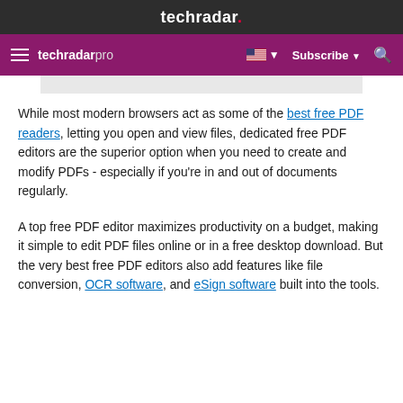techradar.
techradar pro  Subscribe
While most modern browsers act as some of the best free PDF readers, letting you open and view files, dedicated free PDF editors are the superior option when you need to create and modify PDFs - especially if you’re in and out of documents regularly.
A top free PDF editor maximizes productivity on a budget, making it simple to edit PDF files online or in a free desktop download. But the very best free PDF editors also add features like file conversion, OCR software, and eSign software built into the tools.